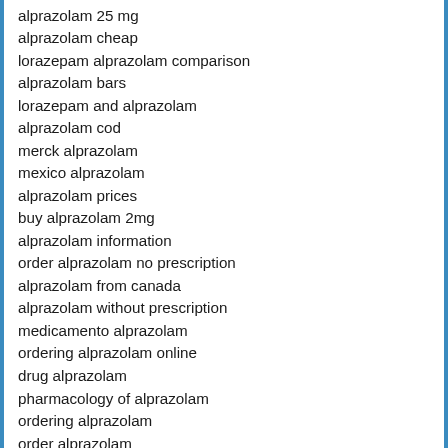alprazolam 25 mg
alprazolam cheap
lorazepam alprazolam comparison
alprazolam bars
lorazepam and alprazolam
alprazolam cod
merck alprazolam
mexico alprazolam
alprazolam prices
buy alprazolam 2mg
alprazolam information
order alprazolam no prescription
alprazolam from canada
alprazolam without prescription
medicamento alprazolam
ordering alprazolam online
drug alprazolam
pharmacology of alprazolam
ordering alprazolam
order alprazolam
alprazolam xr
pharmacy alprazolam
alprazolam dosage